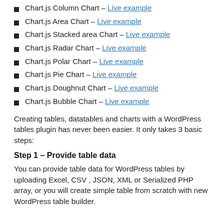Chart.js Column Chart – Live example
Chart.js Area Chart – Live example
Chart.js Stacked area Chart – Live example
Chart.js Radar Chart – Live example
Chart.js Polar Chart – Live example
Chart.js Pie Chart – Live example
Chart.js Doughnut Chart – Live example
Chart.js Bubble Chart – Live example
Creating tables, datatables and charts with a WordPress tables plugin has never been easier. It only takes 3 basic steps:
Step 1 – Provide table data
You can provide table data for WordPress tables by uploading Excel, CSV , JSON, XML or Serialized PHP array, or you will create simple table from scratch with new WordPress table builder.